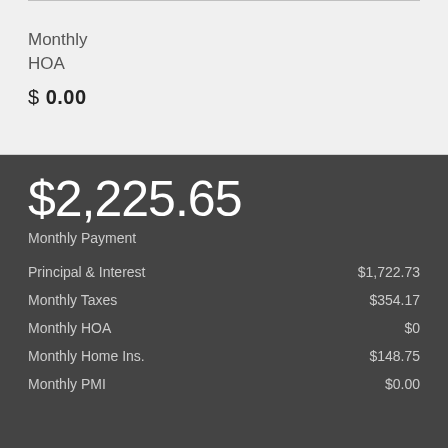Monthly
HOA
$ 0.00
$2,225.65
Monthly Payment
|  |  |
| --- | --- |
| Principal & Interest | $1,722.73 |
| Monthly Taxes | $354.17 |
| Monthly HOA | $0 |
| Monthly Home Ins. | $148.75 |
| Monthly PMI | $0.00 |